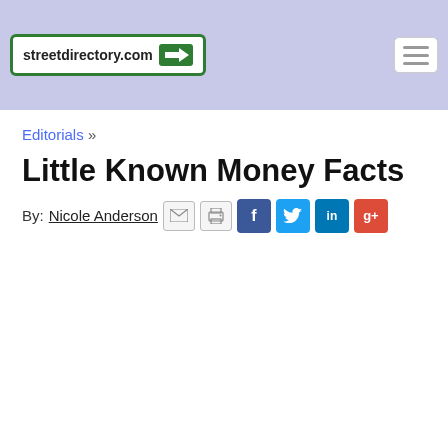streetdirectory.com
Editorials »
Little Known Money Facts
By: Nicole Anderson